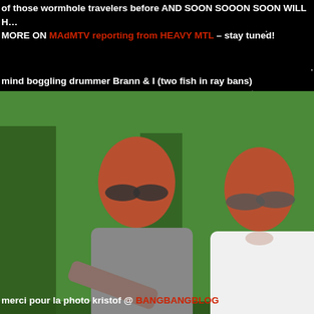of those wormhole travelers before AND SOON SOOON SOON WILL HE MORE ON MAdMTV reporting from HEAVY MTL – stay tuned!
mind boggling drummer Brann & I (two fish in ray bans)
[Figure (photo): Two people with red hair wearing sunglasses (aviator style) standing outdoors in a park setting. The woman on the left wears a grey tank top with a black wristband; the man on the right wears a white t-shirt and holds a bottle. Both are smiling.]
merci pour la photo kristof @ BANGBANGBLOG